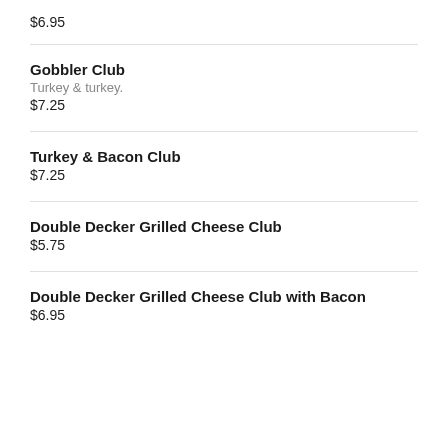$6.95
Gobbler Club
Turkey & turkey.
$7.25
Turkey & Bacon Club
$7.25
Double Decker Grilled Cheese Club
$5.75
Double Decker Grilled Cheese Club with Bacon
$6.95